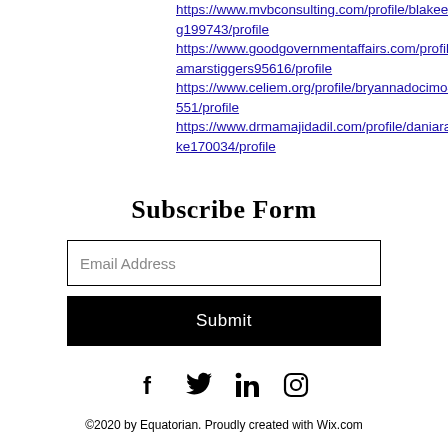https://www.mvbconsulting.com/profile/blakeeling199743/profile
https://www.goodgovernmentaffairs.com/profile/lamarstiggers95616/profile
https://www.celiem.org/profile/bryannadocimo46551/profile
https://www.drmamajidadil.com/profile/daniarathke170034/profile
Subscribe Form
[Figure (other): Email Address input field (text box with border)]
[Figure (other): Submit button (black rectangle with white Submit text)]
[Figure (other): Social media icons: Facebook, Twitter, LinkedIn, Instagram]
©2020 by Equatorian. Proudly created with Wix.com